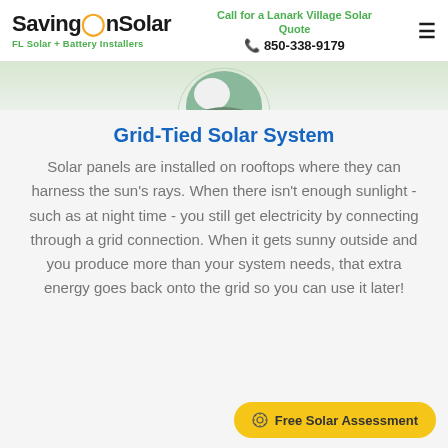SavingOnSolar — FL Solar + Battery Installers | Call for a Lanark Village Solar Quote | 850-338-9179
[Figure (photo): Partial circular photo of a solar installer on a rooftop, cropped at bottom of header area]
Grid-Tied Solar System
Solar panels are installed on rooftops where they can harness the sun's rays. When there isn't enough sunlight - such as at night time - you still get electricity by connecting through a grid connection. When it gets sunny outside and you produce more than your system needs, that extra energy goes back onto the grid so you can use it later!
Free Solar Assessment